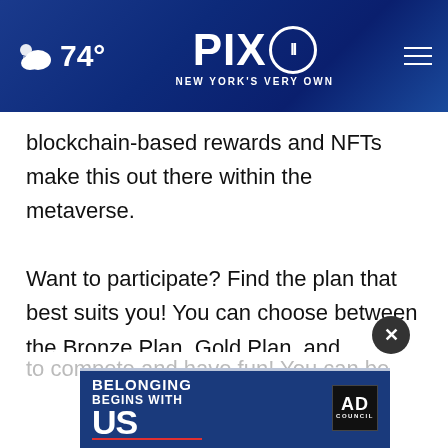74° PIX11 NEW YORK'S VERY OWN
blockchain-based rewards and NFTs make this out there within the metaverse.

Want to participate? Find the plan that best suits you! You can choose between the Bronze Plan, Gold Plan, and Diamond Plan: https://GGToor.com/join.php. If you want to bring your team or friends to GGToor.com, or be a Tournament Organizer, we can support you and help you grow; you can reach a worldwide audie... like to compete and have fun! You can be sure that
[Figure (other): Ad Council advertisement banner: 'BELONGING BEGINS WITH US' with close button (X) overlay at bottom of page]